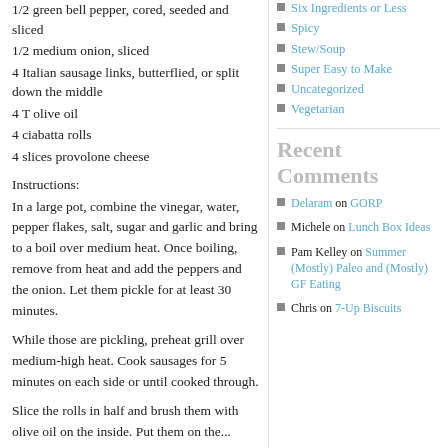1/2 green bell pepper, cored, seeded and sliced
1/2 medium onion, sliced
4 Italian sausage links, butterflied, or split down the middle
4 T olive oil
4 ciabatta rolls
4 slices provolone cheese
Instructions:
In a large pot, combine the vinegar, water, pepper flakes, salt, sugar and garlic and bring to a boil over medium heat. Once boiling, remove from heat and add the peppers and the onion. Let them pickle for at least 30 minutes.
While those are pickling, preheat grill over medium-high heat. Cook sausages for 5 minutes on each side or until cooked through.
Slice the rolls in half and brush them with olive oil on the inside. Put them on the...
Six Ingredients or Less
Spicy
Stew/Soup
Super Easy to Make
Uncategorized
Vegetarian
Recent Comments
Delaram on GORP
Michele on Lunch Box Ideas
Pam Kelley on Summer (Mostly) Paleo and (Mostly) GF Eating
Chris on 7-Up Biscuits